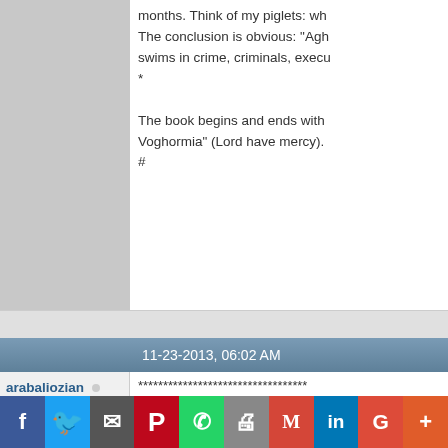months. Think of my piglets: wh... The conclusion is obvious: "Agh... swims in crime, criminals, execu... *
The book begins and ends with... Voghormia" (Lord have mercy).
#
11-23-2013, 06:02 AM
arabaliozian
Registered User
Join Date: Aug 2004
Location: canada
Posts: 556
********************************** INTERVIEW *********************************** Q: Raffi writes about bad as we... You write only about the bad. W... A: Raffi was a great writer and a... Obviously I am not qualified to t... Q: If propaganda is bad, why so... A: So many also engage in adu... smoking, war and massacre. You see, like you, I have more c... Q: Is it true that you love Turks ... A: I hate all liars and dupes reg... Q: Why are you against patriotis...